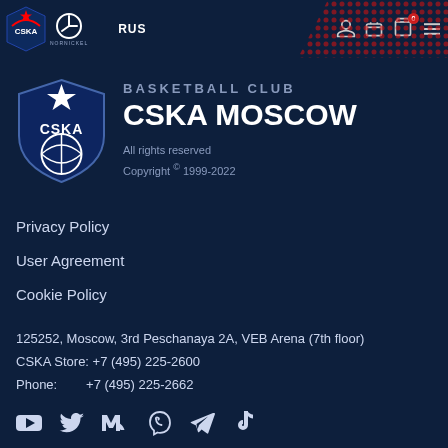[Figure (screenshot): CSKA Moscow Basketball Club website footer/header screenshot showing navigation bar with CSKA logo, Nornickel sponsor logo, RUS language toggle, user/ticket/cart/menu icons, decorative red pattern, CSKA shield logo, club name 'BASKETBALL CLUB CSKA MOSCOW', copyright text, privacy policy links, address, contact numbers, and social media icons]
BASKETBALL CLUB
CSKA MOSCOW
All rights reserved
Copyright © 1999-2022
Privacy Policy
User Agreement
Cookie Policy
125252, Moscow, 3rd Peschanaya 2A, VEB Arena (7th floor)
CSKA Store: +7 (495) 225-2600
Phone:        +7 (495) 225-2662